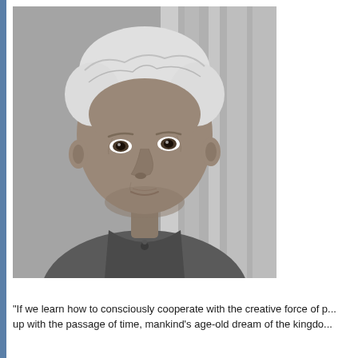[Figure (photo): Black and white portrait photograph of an elderly South Asian man with white hair, wearing a traditional Indian collared shirt (kurta), looking slightly to the side]
“If we learn how to consciously cooperate with the creative force of p... up with the passage of time, mankind’s age-old dream of the kingdo...